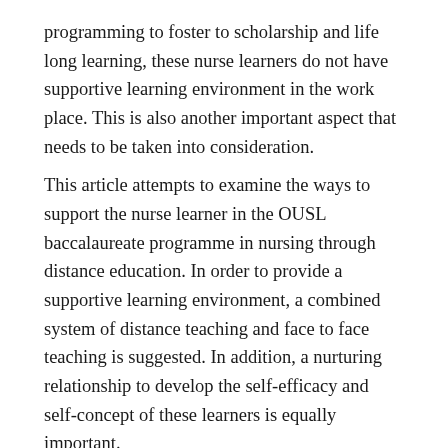programming to foster to scholarship and life long learning, these nurse learners do not have supportive learning environment in the work place. This is also another important aspect that needs to be taken into consideration.
This article attempts to examine the ways to support the nurse learner in the OUSL baccalaureate programme in nursing through distance education. In order to provide a supportive learning environment, a combined system of distance teaching and face to face teaching is suggested. In addition, a nurturing relationship to develop the self-efficacy and self-concept of these learners is equally important.
doi: 10.4038/ouslj.v3i0.382
OUSL Journal (2001) Vol.3, (pp94-110)